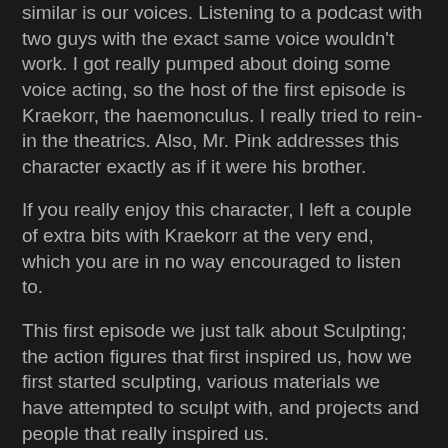similar is our voices. Listening to a podcast with two guys with the exact same voice wouldn't work. I got really pumped about doing some voice acting, so the host of the first episode is Kraekorr, the haemonculus. I really tried to rein-in the theatrics. Also, Mr. Pink addresses this character exactly as if it were his brother.
If you really enjoy this character, I left a couple of extra bits with Kraekorr at the very end, which you are in no way encouraged to listen to.
This first episode we just talk about Sculpting; the action figures that first inspired us, how we first started sculpting, various materials we have attempted to sculpt with, and projects and people that really inspired us.
There were a few hiccups: Mr. Pink is a tad too quiet (he now has the 2nd best mic on wirecutter.com), and I have a slight case of the sniffles. The call drops soon after I talk about helium filled terrain ideas and Mr. Pink may or may not encourage listeners to plunge their hands into buckets of plaster (which will cause serious harm).